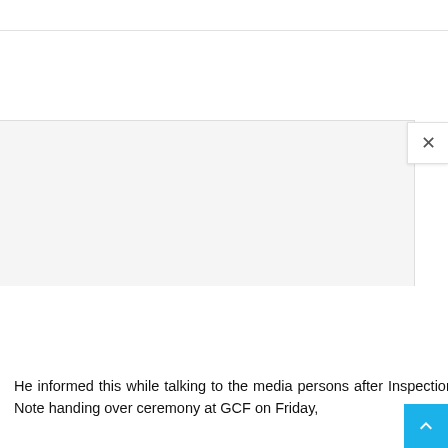[Figure (screenshot): Modal overlay or pop-up dialog on a webpage, showing a white close button (×) at top right on a light gray/white background area.]
He informed this while talking to the media persons after Inspection Note handing over ceremony at GCF on Friday,